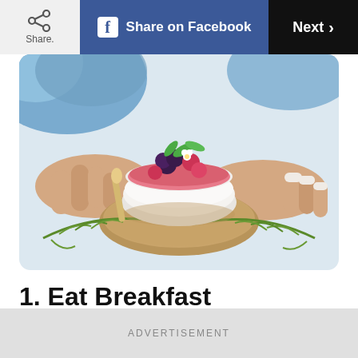Share  Share on Facebook  Next
[Figure (photo): Hands holding a white bowl filled with berries, raspberries, blackberries and mint leaves, placed on a cork trivet with green fern leaves, on a light background]
1. Eat Breakfast
You may believe you can shed weight by passing
ADVERTISEMENT